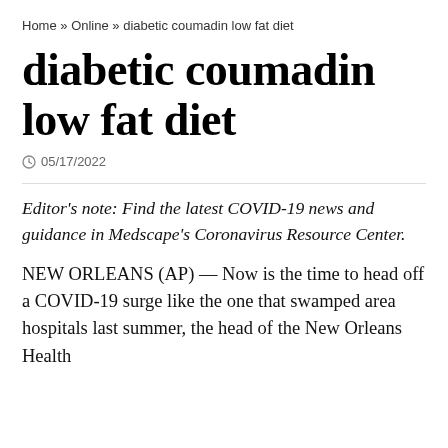Home » Online » diabetic coumadin low fat diet
diabetic coumadin low fat diet
05/17/2022
Editor's note: Find the latest COVID-19 news and guidance in Medscape's Coronavirus Resource Center.
NEW ORLEANS (AP) — Now is the time to head off a COVID-19 surge like the one that swamped area hospitals last summer, the head of the New Orleans Health